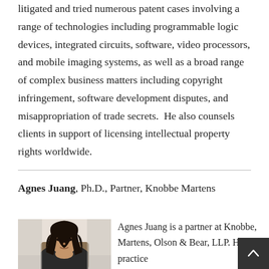litigated and tried numerous patent cases involving a range of technologies including programmable logic devices, integrated circuits, software, video processors, and mobile imaging systems, as well as a broad range of complex business matters including copyright infringement, software development disputes, and misappropriation of trade secrets.  He also counsels clients in support of licensing intellectual property rights worldwide.
Agnes Juang, Ph.D., Partner, Knobbe Martens
[Figure (photo): Headshot photo of Agnes Juang, a woman with long dark hair, in professional attire with a blurred background.]
Agnes Juang is a partner at Knobbe, Martens, Olson & Bear, LLP. Her practice...